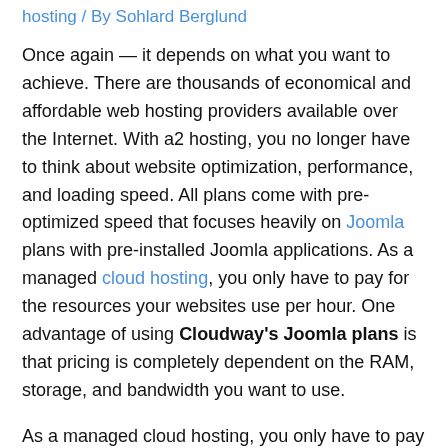hosting / By Sohlard Berglund
Once again — it depends on what you want to achieve. There are thousands of economical and affordable web hosting providers available over the Internet. With a2 hosting, you no longer have to think about website optimization, performance, and loading speed. All plans come with pre-optimized speed that focuses heavily on Joomla plans with pre-installed Joomla applications. As a managed cloud hosting, you only have to pay for the resources your websites use per hour. One advantage of using Cloudway's Joomla plans is that pricing is completely dependent on the RAM, storage, and bandwidth you want to use.
As a managed cloud hosting, you only have to pay for the resources your websites use per hour. One advantage of using Cloudways Joomla plans is that pricing is completely dependent on the RAM, storage, and bandwidth you want to use. Pocketlinko readers